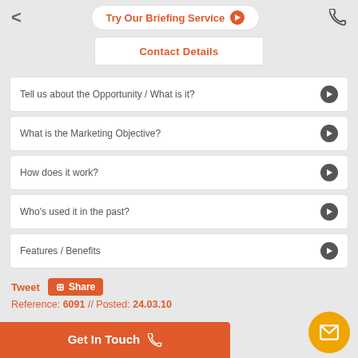Try Our Briefing Service
Contact Details
Tell us about the Opportunity / What is it?
What is the Marketing Objective?
How does it work?
Who's used it in the past?
Features / Benefits
Tweet  Share
Reference: 6091 // Posted: 24.03.10
Get In Touch